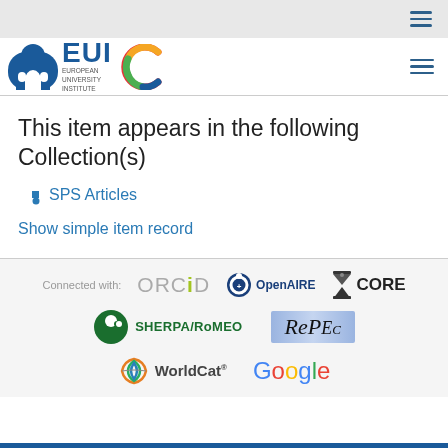[Figure (logo): EUI European University Institute logo with colorful C emblem]
This item appears in the following Collection(s)
SPS Articles
Show simple item record
[Figure (logo): Footer logos: Connected with ORCID, OpenAIRE, CORE, SHERPA/RoMEO, RePEc, WorldCat, Google Scholar]